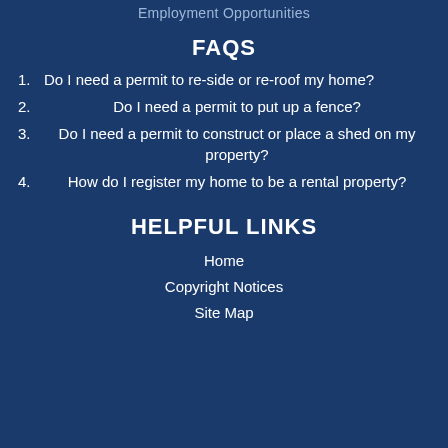Employment Opportunities
FAQS
1. Do I need a permit to re-side or re-roof my home?
2. Do I need a permit to put up a fence?
3. Do I need a permit to construct or place a shed on my property?
4. How do I register my home to be a rental property?
HELPFUL LINKS
Home
Copyright Notices
Site Map